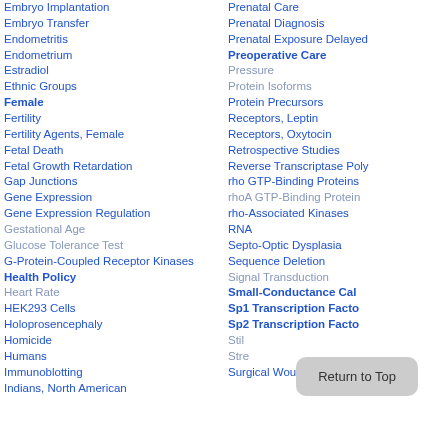Embryo Implantation
Embryo Transfer
Endometritis
Endometrium
Estradiol
Ethnic Groups
Female
Fertility
Fertility Agents, Female
Fetal Death
Fetal Growth Retardation
Gap Junctions
Gene Expression
Gene Expression Regulation
Gestational Age
Glucose Tolerance Test
G-Protein-Coupled Receptor Kinases
Health Policy
Heart Rate
HEK293 Cells
Holoprosencephaly
Homicide
Humans
Immunoblotting
Indians, North American
Prenatal Care
Prenatal Diagnosis
Prenatal Exposure Delayed
Preoperative Care
Pressure
Protein Isoforms
Protein Precursors
Receptors, Leptin
Receptors, Oxytocin
Retrospective Studies
Reverse Transcriptase Poly
rho GTP-Binding Proteins
rhoA GTP-Binding Protein
rho-Associated Kinases
RNA
Septo-Optic Dysplasia
Sequence Deletion
Signal Transduction
Small-Conductance Cal
Sp1 Transcription Facto
Sp2 Transcription Facto
Stillbirth
Stress
Surgical Wound Infection